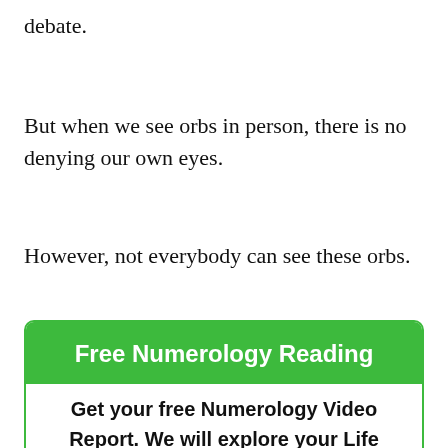debate.
But when we see orbs in person, there is no denying our own eyes.
However, not everybody can see these orbs.
Free Numerology Reading
Get your free Numerology Video Report. We will explore your Life Path, Expression and Soul Urge Numbers (and more) in ways you've NEVER (ever) seen before. (Click